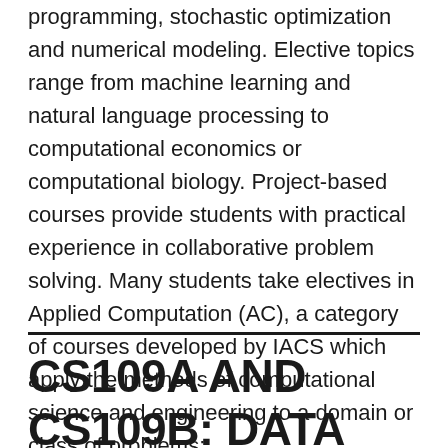programming, stochastic optimization and numerical modeling. Elective topics range from machine learning and natural language processing to computational economics or computational biology. Project-based courses provide students with practical experience in collaborative problem solving. Many students take electives in Applied Computation (AC), a category of courses developed by IACS which apply the methods of computational science and engineering to a domain or class of problems:
CS109A AND CS109B: DATA